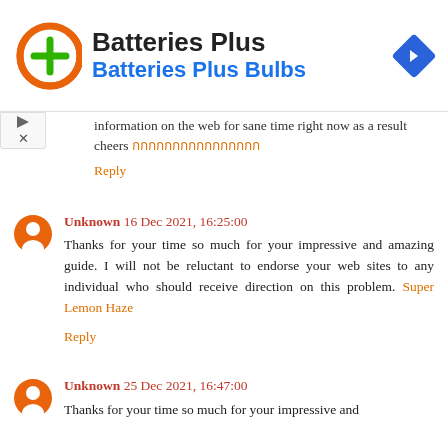[Figure (logo): Batteries Plus ad banner with orange circular logo with green plus sign, 'Batteries Plus' title in dark text, 'Batteries Plus Bulbs' in blue, and a blue diamond navigation icon on the right]
information on the web for sane time right now as a result cheers [Thai characters]
Reply
Unknown 16 Dec 2021, 16:25:00
Thanks for your time so much for your impressive and amazing guide. I will not be reluctant to endorse your web sites to any individual who should receive direction on this problem. Super Lemon Haze
Reply
Unknown 25 Dec 2021, 16:47:00
Thanks for your time so much for your impressive and